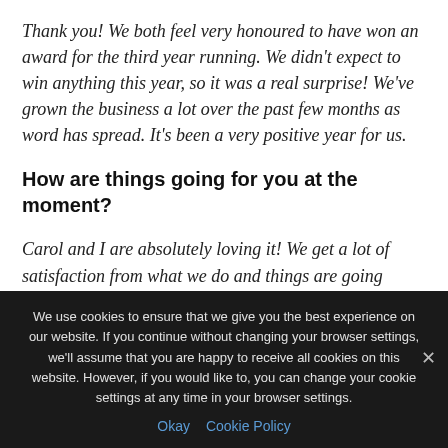Thank you! We both feel very honoured to have won an award for the third year running. We didn't expect to win anything this year, so it was a real surprise! We've grown the business a lot over the past few months as word has spread. It's been a very positive year for us.
How are things going for you at the moment?
Carol and I are absolutely loving it! We get a lot of satisfaction from what we do and things are going really,
We use cookies to ensure that we give you the best experience on our website. If you continue without changing your browser settings, we'll assume that you are happy to receive all cookies on this website. However, if you would like to, you can change your cookie settings at any time in your browser settings.
Okay   Cookie Policy